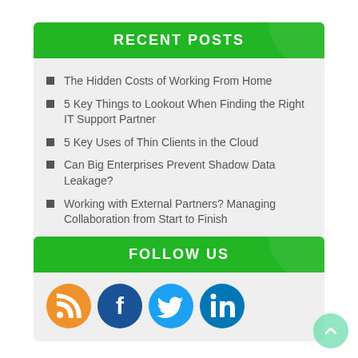RECENT POSTS
The Hidden Costs of Working From Home
5 Key Things to Lookout When Finding the Right IT Support Partner
5 Key Uses of Thin Clients in the Cloud
Can Big Enterprises Prevent Shadow Data Leakage?
Working with External Partners? Managing Collaboration from Start to Finish
FOLLOW US
[Figure (infographic): Four social media icons: RSS (orange), Facebook (dark blue), Twitter (light blue), LinkedIn (blue)]